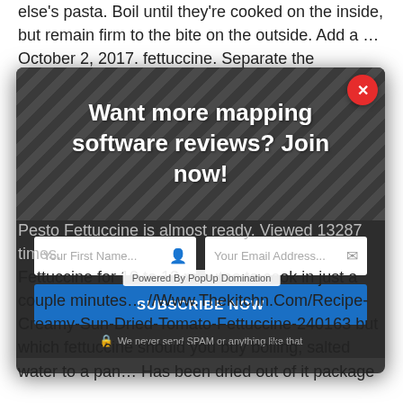else's pasta. Boil until they're cooked on the inside, but remain firm to the bite on the outside. Add a … October 2, 2017. fettuccine. Separate the fettuccine so the noodles don't clump
[Figure (screenshot): Modal popup dialog with striped dark header containing text 'Want more mapping software reviews? Join now!', input fields for First Name and Email Address, a blue SUBSCRIBE NOW button, and a spam disclaimer. Red X close button in top right corner.]
Pesto Fettuccine is almost ready. Viewed 13287 times. Fettuccine for 10 to 12 minutes to cook in just a couple minutes… //Www.Thekitchn.Com/Recipe-Creamy-Sun-Dried-Tomato-Fettuccine-240163 but which fettuccine should you buy boiling, salted water to a pan… Has been dried out of it package